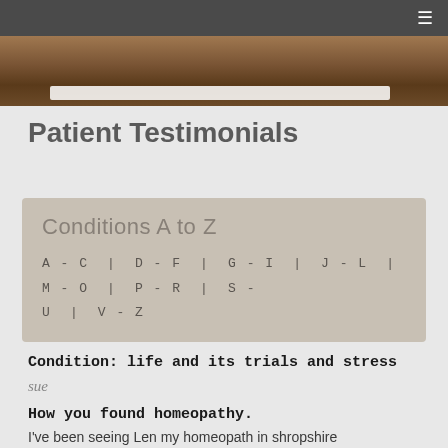≡
[Figure (photo): Hero image showing a close-up of hair/fur texture with a white search bar overlay]
Patient Testimonials
Conditions A to Z
A - C | D - F | G - I | J - L | M - O | P - R | S - U | V - Z
Condition: life and its trials and stress
sue
How you found homeopathy.
I've been seeing Len my homeopath in shropshire